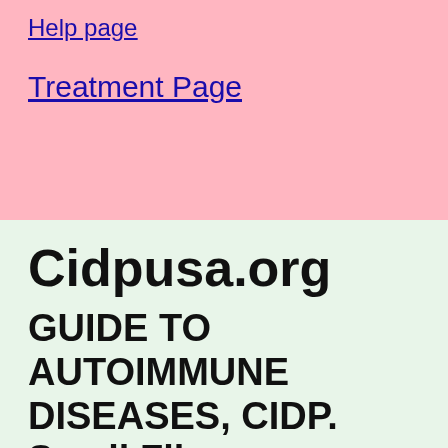Help page
Treatment Page
Cidpusa.org
GUIDE TO AUTOIMMUNE DISEASES, CIDP. Small Fiber neuropathy